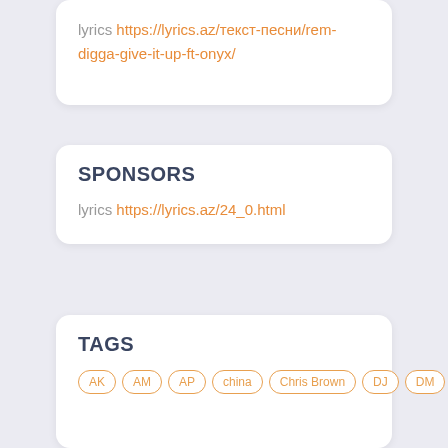lyrics https://lyrics.az/текст-песни/rem-digga-give-it-up-ft-onyx/
SPONSORS
lyrics https://lyrics.az/24_0.html
TAGS
AK
AM
AP
china
Chris Brown
DJ
DM
EU